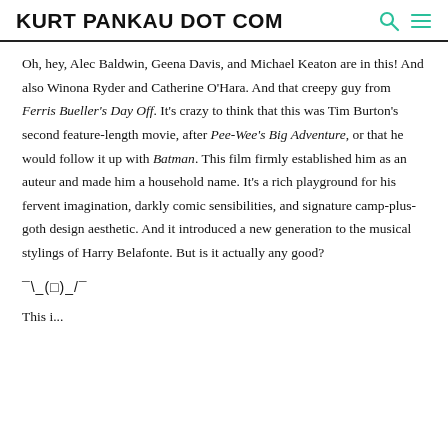KURT PANKAU DOT COM
Oh, hey, Alec Baldwin, Geena Davis, and Michael Keaton are in this! And also Winona Ryder and Catherine O'Hara. And that creepy guy from Ferris Bueller's Day Off. It's crazy to think that this was Tim Burton's second feature-length movie, after Pee-Wee's Big Adventure, or that he would follow it up with Batman. This film firmly established him as an auteur and made him a household name. It's a rich playground for his fervent imagination, darkly comic sensibilities, and signature camp-plus-goth design aesthetic. And it introduced a new generation to the musical stylings of Harry Belafonte. But is it actually any good?
¯\_(□)_/¯
This is...